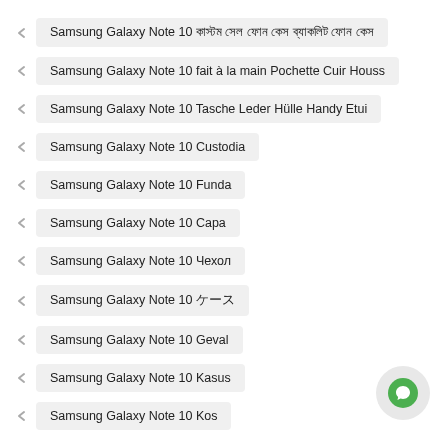Samsung Galaxy Note 10 কাস্টম সেল ফোন কেস ব্যাকলিট ফোন কেস
Samsung Galaxy Note 10 fait à la main Pochette Cuir Houss
Samsung Galaxy Note 10 Tasche Leder Hülle Handy Etui
Samsung Galaxy Note 10 Custodia
Samsung Galaxy Note 10 Funda
Samsung Galaxy Note 10 Capa
Samsung Galaxy Note 10 Чехол
Samsung Galaxy Note 10 ケース
Samsung Galaxy Note 10 Geval
Samsung Galaxy Note 10 Kasus
Samsung Galaxy Note 10 Kos